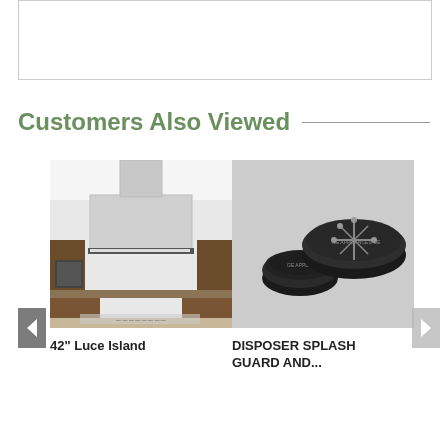[Figure (photo): White rectangular box/product image area at the top of the page]
Customers Also Viewed
[Figure (photo): 42 inch Luce Island range hood in a modern kitchen setting]
42" Luce Island
[Figure (photo): Two black disposer splash guard and stopper parts on white background]
DISPOSER SPLASH GUARD AND...